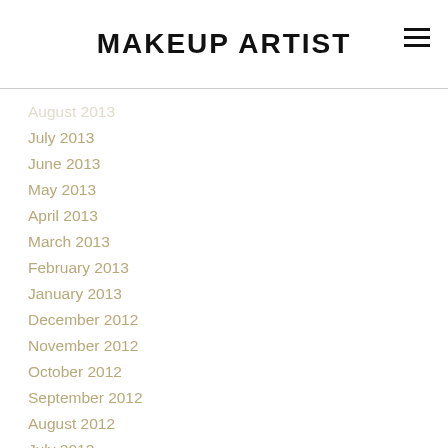MAKEUP ARTIST
August 2013
July 2013
June 2013
May 2013
April 2013
March 2013
February 2013
January 2013
December 2012
November 2012
October 2012
September 2012
August 2012
July 2012
June 2012
May 2012
April 2012